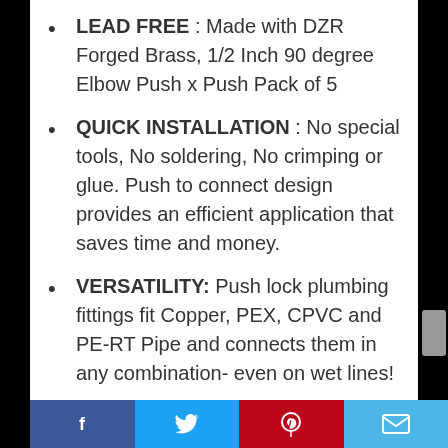LEAD FREE : Made with DZR Forged Brass, 1/2 Inch 90 degree Elbow Push x Push Pack of 5
QUICK INSTALLATION : No special tools, No soldering, No crimping or glue. Push to connect design provides an efficient application that saves time and money.
VERSATILITY: Push lock plumbing fittings fit Copper, PEX, CPVC and PE-RT Pipe and connects them in any combination- even on wet lines!
PERFORMANCE: 200 PSI and 200
Facebook | Twitter | Pinterest | Email